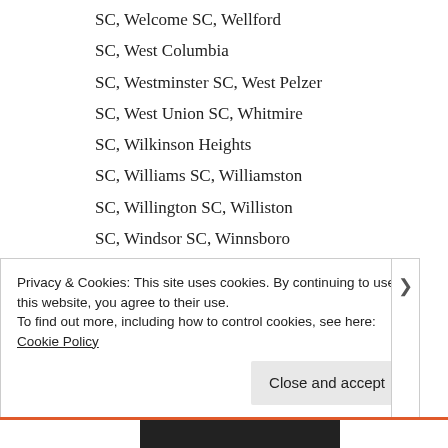SC, Welcome SC, Wellford
SC, West Columbia
SC, Westminster SC, West Pelzer
SC, West Union SC, Whitmire
SC, Wilkinson Heights
SC, Williams SC, Williamston
SC, Willington SC, Williston
SC, Windsor SC, Winnsboro
SC, Winnsboro Mills SC, Woodfield
SC, Woodford SC, Woodruff
Privacy & Cookies: This site uses cookies. By continuing to use this website, you agree to their use.
To find out more, including how to control cookies, see here: Cookie Policy
Close and accept